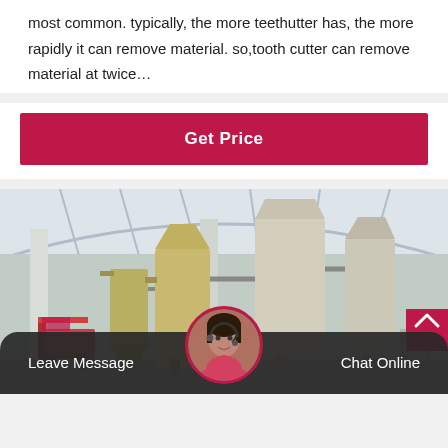most common. typically, the more teethutter has, the more rapidly it can remove material. so,tooth cutter can remove material at twice…
Get Price
[Figure (photo): Industrial factory interior showing large grinding mill machinery, silos, dust collectors, and industrial equipment inside a large warehouse with metal roof structure.]
Leave Message   Chat Online